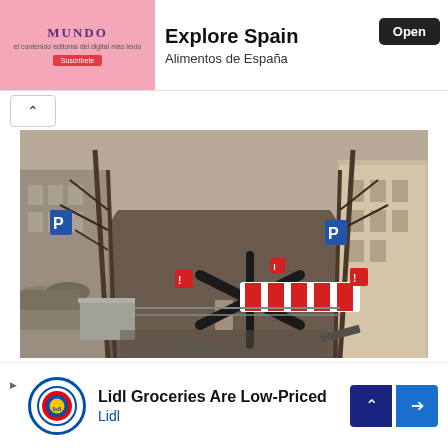[Figure (screenshot): Top advertisement banner with El Mundo pink ad on left and Explore Spain / Alimentos de España on right with Open button]
[Figure (photo): Street scene showing road barricades with barbed wire anti-tank obstacles, sandbags, red warning signs, and a striped road barrier blocking an empty urban street with bare trees and buildings on both sides]
'Stop feeding oligarchs' wallets and Putin's war
[Figure (screenshot): Bottom advertisement for Lidl Groceries Are Low-Priced with Lidl logo and navigation arrow buttons]